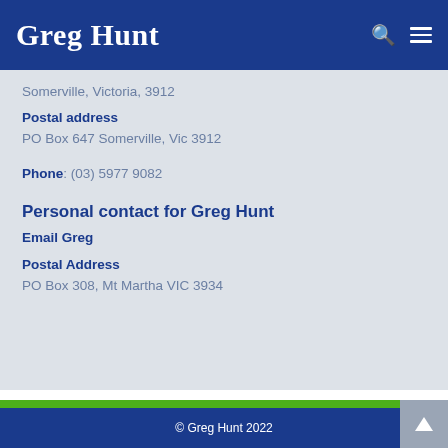Greg Hunt
Somerville, Victoria, 3912
Postal address
PO Box 647 Somerville, Vic 3912
Phone: (03) 5977 9082
Personal contact for Greg Hunt
Email Greg
Postal Address
PO Box 308, Mt Martha VIC 3934
© Greg Hunt 2022